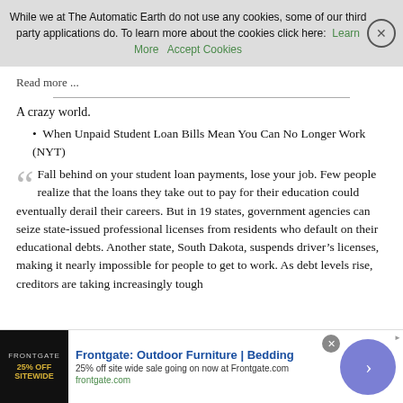While we at The Automatic Earth do not use any cookies, some of our third party applications do. To learn more about the cookies click here: Learn More  Accept Cookies
Read more ...
A crazy world.
When Unpaid Student Loan Bills Mean You Can No Longer Work (NYT)
Fall behind on your student loan payments, lose your job. Few people realize that the loans they take out to pay for their education could eventually derail their careers. But in 19 states, government agencies can seize state-issued professional licenses from residents who default on their educational debts. Another state, South Dakota, suspends driver's licenses, making it nearly impossible for people to get to work. As debt levels rise, creditors are taking increasingly tough
[Figure (other): Advertisement banner for Frontgate: Outdoor Furniture | Bedding. 25% off site wide sale going on now at Frontgate.com. frontgate.com]
Frontgate: Outdoor Furniture | Bedding